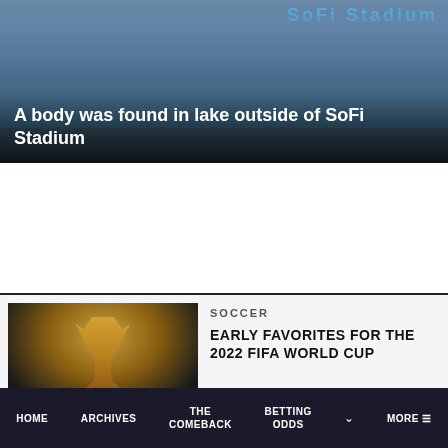[Figure (photo): Aerial or ground-level photo of SoFi Stadium exterior with lake/water feature visible, stadium sign visible in background]
A body was found in lake outside of SoFi Stadium
[Figure (photo): Dark image of a golden FIFA World Cup trophy against dark background]
SOCCER
EARLY FAVORITES FOR THE 2022 FIFA WORLD CUP
[Figure (photo): NFL player in purple Minnesota Vikings uniform number 14 raising arm, red background with letter K visible]
NFL
Three NFL teams who could spring a surprise in the season ahead
HOME  ARCHIVES  THE COMEBACK  BETTING ODDS  MORE